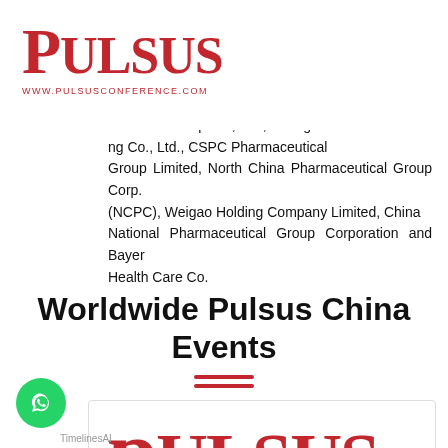PULSUS www.pulsusconference.com
aceutical Group Co., Ltd., Shanghai ng Co., Ltd., CSPC Pharmaceutical Group Limited, North China Pharmaceutical Group Corp. (NCPC), Weigao Holding Company Limited, China National Pharmaceutical Group Corporation and Bayer Health Care Co.
Worldwide Pulsus China Events
[Figure (logo): Pulsus logo large in red on white card background at bottom of page]